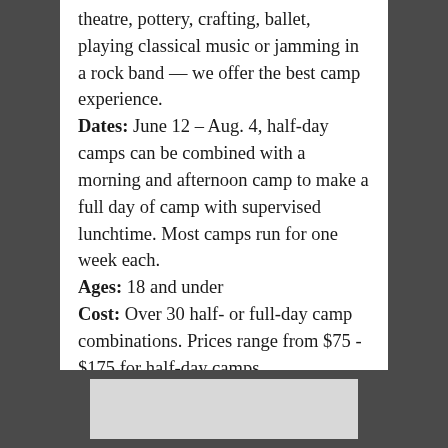theatre, pottery, crafting, ballet, playing classical music or jamming in a rock band — we offer the best camp experience. Dates: June 12 – Aug. 4, half-day camps can be combined with a morning and afternoon camp to make a full day of camp with supervised lunchtime. Most camps run for one week each. Ages: 18 and under Cost: Over 30 half- or full-day camp combinations. Prices range from $75 - $175 for half-day camps.
[Figure (other): Gray rectangle in dark footer bar at bottom of page]